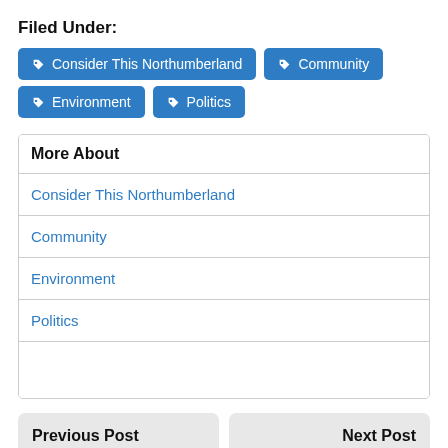Filed Under:
Consider This Northumberland
Community
Environment
Politics
More About
Consider This Northumberland
Community
Environment
Politics
Previous Post
Welcome to your community engagement
Next Post
Scouts from Northumberland County